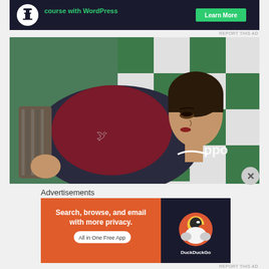[Figure (other): Advertisement banner at top: dark background with green text 'course with WordPress', Learn More button, circular icon on left]
REPORT THIS AD
[Figure (photo): Photo of a woman in a dark red jacket at what appears to be an Oppo Fresh Face 2016 event, with green and white checkered backdrop with Oppo logos]
Advertisements
[Figure (other): DuckDuckGo advertisement: orange section with 'Search, browse, and email with more privacy. All in One Free App' and dark section with DuckDuckGo duck logo]
REPORT THIS AD